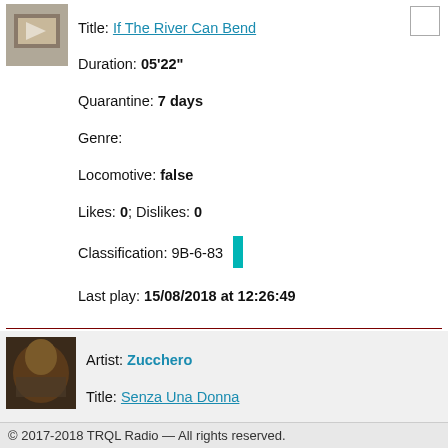[Figure (photo): Album thumbnail image for first track]
Title: If The River Can Bend
Duration: 05'22"
Quarantine: 7 days
Genre:
Locomotive: false
Likes: 0; Dislikes: 0
Classification: 9B-6-83
Last play: 15/08/2018 at 12:26:49
[Figure (photo): Album thumbnail image for second track (Zucchero)]
Artist: Zucchero
Title: Senza Una Donna
Duration: 04'33"
Quarantine: 7 days
Genre: pop/rock
Locomotive: false
Likes: 0; Dislikes: 0
© 2017-2018 TRQL Radio — All rights reserved.